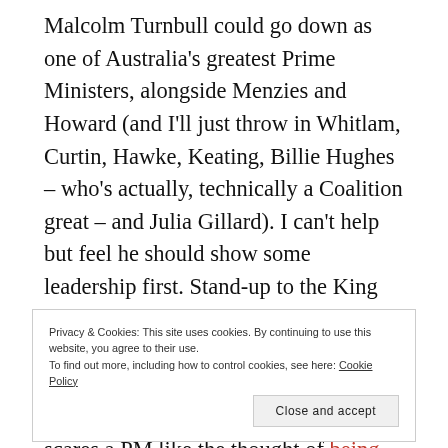Malcolm Turnbull could go down as one of Australia's greatest Prime Ministers, alongside Menzies and Howard (and I'll just throw in Whitlam, Curtin, Hawke, Keating, Billie Hughes – who's actually, technically a Coalition great – and Julia Gillard). I can't help but feel he should show some leadership first. Stand-up to the King Brown Snakes wearing a human suit possessed by the souls of xenophobic blowfish that occupy the right wing of the backbench. Of course, nothing scares a PM like the thought of being courageous.
Privacy & Cookies: This site uses cookies. By continuing to use this website, you agree to their use.
To find out more, including how to control cookies, see here: Cookie Policy